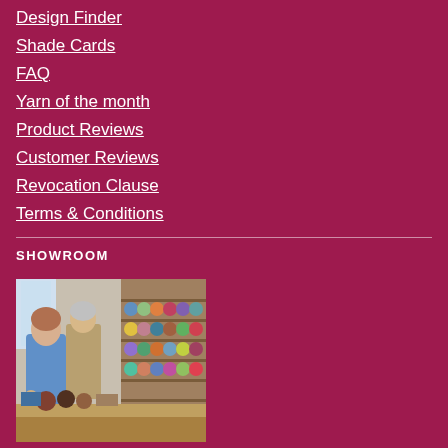Design Finder
Shade Cards
FAQ
Yarn of the month
Product Reviews
Customer Reviews
Revocation Clause
Terms & Conditions
SHOWROOM
[Figure (photo): Two women in a yarn showroom with shelves of yarn balls in the background; one woman is leaning over a table with yarn balls and books on it.]